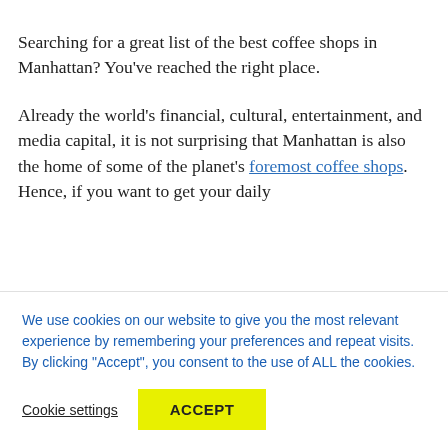Searching for a great list of the best coffee shops in Manhattan? You've reached the right place.
Already the world's financial, cultural, entertainment, and media capital, it is not surprising that Manhattan is also the home of some of the planet's foremost coffee shops. Hence, if you want to get your daily
We use cookies on our website to give you the most relevant experience by remembering your preferences and repeat visits. By clicking "Accept", you consent to the use of ALL the cookies.
Cookie settings
ACCEPT